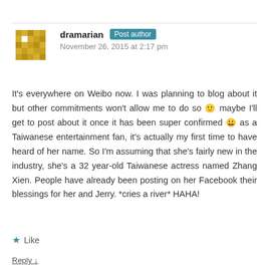[Figure (illustration): User avatar — gold/yellow geometric pixel art pattern on white background]
dramarian Post author
November 26, 2015 at 2:17 pm
It's everywhere on Weibo now. I was planning to blog about it but other commitments won't allow me to do so 🙂 maybe I'll get to post about it once it has been super confirmed 😀 as a Taiwanese entertainment fan, it's actually my first time to have heard of her name. So I'm assuming that she's fairly new in the industry, she's a 32 year-old Taiwanese actress named Zhang Xien. People have already been posting on her Facebook their blessings for her and Jerry. *cries a river* HAHA!
★ Like
Reply ↓